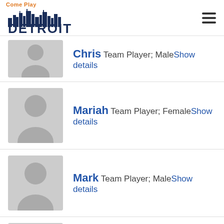Come Play Detroit logo and navigation
Chris Team Player; Male Show details
Mariah Team Player; Female Show details
Mark Team Player; Male Show details
Burns Team Player; Male Show details
Joshua Team Player; Male Show details